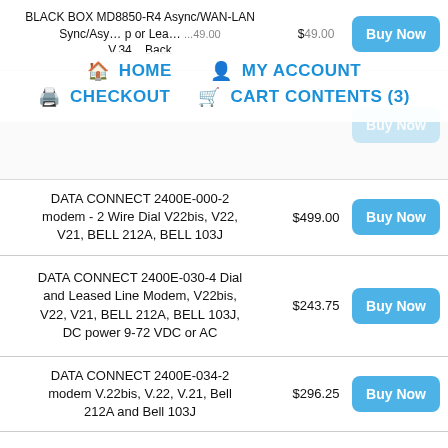BLACK BOX MD8850-R4 Async/WAN-LAN Sync/Async Tip or Lease Line Modem V.34 Back $49.00
HOME | MY ACCOUNT | CHECKOUT | CART CONTENTS (3)
DATA CONNECT 2400E-000-2 modem - 2 Wire Dial V22bis, V22, V21, BELL 212A, BELL 103J $499.00
DATA CONNECT 2400E-030-4 Dial and Leased Line Modem, V22bis, V22, V21, BELL 212A, BELL 103J, DC power 9-72 VDC or AC $243.75
DATA CONNECT 2400E-034-2 modem V.22bis, V.22, V.21, Bell 212A and Bell 103J $296.25
DATA CONNECT 2400E-330-4 Modem, V22bis, V22, V21, BELL 212A, BELL 103J, DC power 9-72 VDC or AC $296.25
DATA CONNECT 2400R-030-4 Rack Mount Modem, V.22bis, V.22, V.21, $183.75